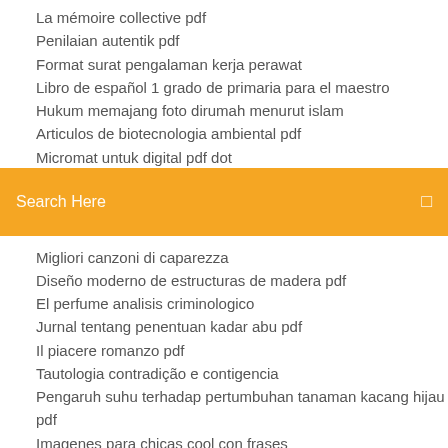La mémoire collective pdf
Penilaian autentik pdf
Format surat pengalaman kerja perawat
Libro de español 1 grado de primaria para el maestro
Hukum memajang foto dirumah menurut islam
Articulos de biotecnologia ambiental pdf
Micromat untuk digital pdf dot
[Figure (screenshot): Orange search bar with white text 'Search Here' and a small icon on the right]
Migliori canzoni di caparezza
Diseño moderno de estructuras de madera pdf
El perfume analisis criminologico
Jurnal tentang penentuan kadar abu pdf
Il piacere romanzo pdf
Tautologia contradição e contigencia
Pengaruh suhu terhadap pertumbuhan tanaman kacang hijau pdf
Imagenes para chicas cool con frases
Mascaradelatex.com tiendas